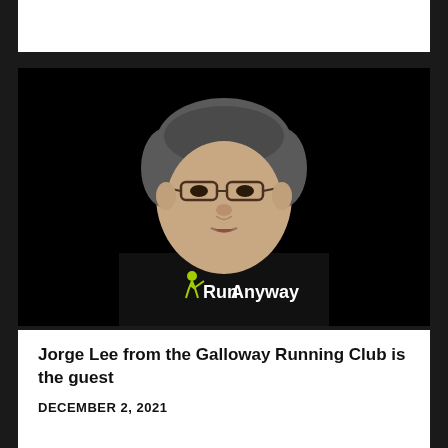[Figure (photo): A man wearing a black 'RunAnyway' t-shirt with a green running figure logo, with short gray-black hair and glasses, photographed against a dark/black background. The man appears to be Jorge Lee.]
Jorge Lee from the Galloway Running Club is the guest
DECEMBER 2, 2021